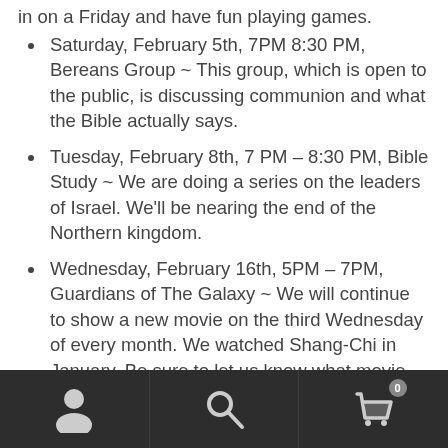Saturday, February 5th, 7PM 8:30 PM, Bereans Group ~ This group, which is open to the public, is discussing communion and what the Bible actually says.
Tuesday, February 8th, 7 PM – 8:30 PM, Bible Study ~ We are doing a series on the leaders of Israel. We'll be nearing the end of the Northern kingdom.
Wednesday, February 16th, 5PM – 7PM, Guardians of The Galaxy ~ We will continue to show a new movie on the third Wednesday of every month. We watched Shang-Chi in January. Be sure to let us know what movie we should watch in March!